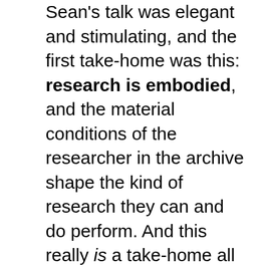Sean's talk was elegant and stimulating, and the first take-home was this: research is embodied, and the material conditions of the researcher in the archive shape the kind of research they can and do perform. And this really is a take-home all about taking home. Institutional archives are increasingly the sites of photographic data capture. Exploratory and interpretive decisions increasingly take place at home.
Or in the office, or on the train, or another library, or the deepest corner of the More Than Just ... Coffee! Lounge on Hoe Street in Walthamstow, or the pay-per-hour workspace into which it will gentrify overnight in the